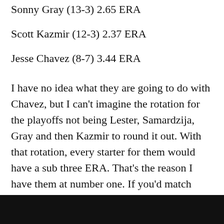Sonny Gray (13-3) 2.65 ERA
Scott Kazmir (12-3) 2.37 ERA
Jesse Chavez (8-7) 3.44 ERA
I have no idea what they are going to do with Chavez, but I can't imagine the rotation for the playoffs not being Lester, Samardzija, Gray and then Kazmir to round it out. With that rotation, every starter for them would have a sub three ERA. That's the reason I have them at number one. If you'd match them against the Tigers, I'd take the A's based on the fact that Lester has already beaten the Tigers lineup in the playoffs before, Gray is a better pitcher this year than Verlander is and I'd give Kazmir the